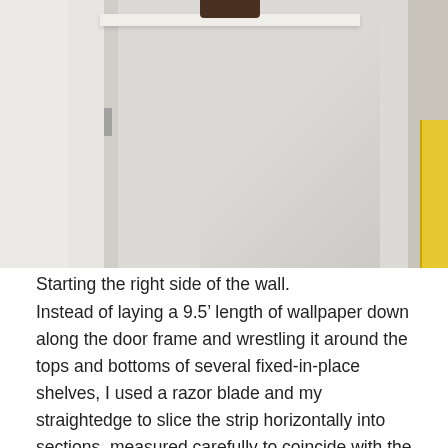[Figure (photo): Interior photo showing a closet or room corner with a white door frame on the left, light gray/beige walls, a metal hinge visible on the door frame, a white horizontal shelf or bracket near the top, a dark object at the very top center, and a yellow warning label partially visible on the right edge.]
Starting the right side of the wall.
Instead of laying a 9.5’ length of wallpaper down along the door frame and wrestling it around the tops and bottoms of several fixed-in-place shelves, I used a razor blade and my straightedge to slice the strip horizontally into sections, measured carefully to coincide with the position of the